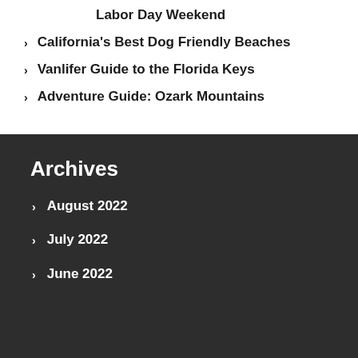Labor Day Weekend
California's Best Dog Friendly Beaches
Vanlifer Guide to the Florida Keys
Adventure Guide: Ozark Mountains
Archives
August 2022
July 2022
June 2022